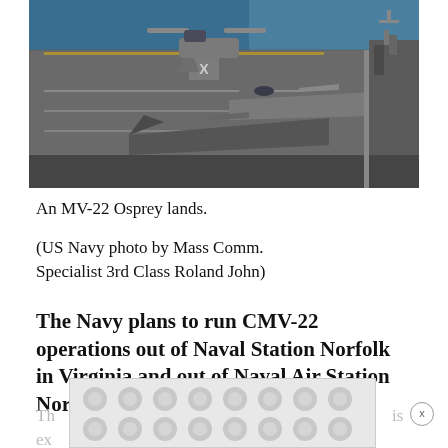[Figure (photo): Aerial view of aircraft carrier deck with an MV-22 Osprey tiltrotor aircraft landing and fighter jets parked on the deck; ocean visible in the background.]
An MV-22 Osprey lands.

(US Navy photo by Mass Comm. Specialist 3rd Class Roland John)
The Navy plans to run CMV-22 operations out of Naval Station Norfolk in Virginia and out of Naval Air Station North Island in San Diego.
Th... is ex...